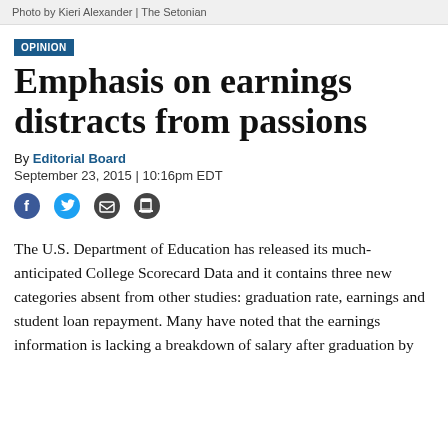Photo by Kieri Alexander | The Setonian
OPINION
Emphasis on earnings distracts from passions
By Editorial Board
September 23, 2015 | 10:16pm EDT
[Figure (infographic): Social sharing icons: Facebook, Twitter, Email, Print]
The U.S. Department of Education has released its much-anticipated College Scorecard Data and it contains three new categories absent from other studies: graduation rate, earnings and student loan repayment. Many have noted that the earnings information is lacking a breakdown of salary after graduation by